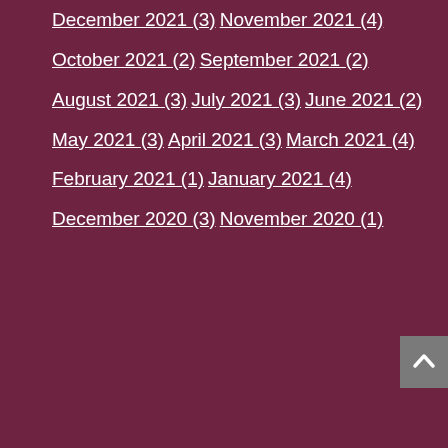December 2021 (3)
November 2021 (4)
October 2021 (2)
September 2021 (2)
August 2021 (3)
July 2021 (3)
June 2021 (2)
May 2021 (3)
April 2021 (3)
March 2021 (4)
February 2021 (1)
January 2021 (4)
December 2020 (3)
November 2020 (1)